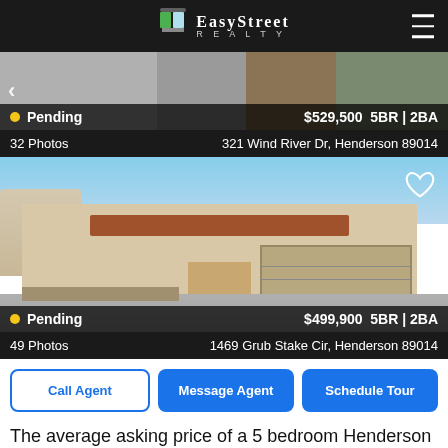[Figure (logo): EasyStreet Realty logo — building icon with two door/window panes, white text on dark header bar]
[Figure (photo): First listing property photo — house exterior with garage door, partially visible, dark overlay at bottom]
Pending  $529,500  5BR | 2BA
32 Photos    321 Wind River Dr, Henderson 89014
[Figure (photo): Second listing property photo — two-story stucco home with attached garage, desert landscaping, concrete driveway, blue sky]
Pending  $499,900  5BR | 2BA
49 Photos    1469 Grub Stake Cir, Henderson 89014
Call Agent
Message Agent
Schedule Tour
The average asking price of a 5 bedroom Henderson home